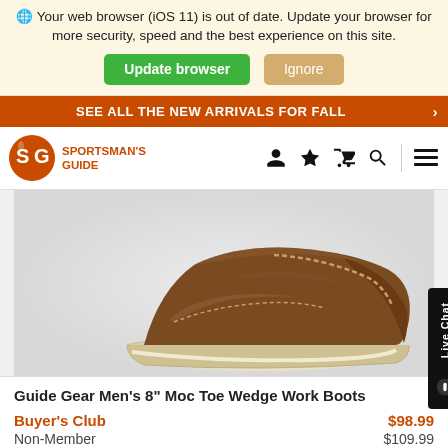🌐 Your web browser (iOS 11) is out of date. Update your browser for more security, speed and the best experience on this site.
Update browser | Ignore
SEE ALL THE NEW ARRIVALS FOR FALL
[Figure (logo): Sportsman's Guide logo with SG letters in orange circle and text 'SPORTSMAN'S GUIDE' beside it, with navigation icons (person, star, cart, search, hamburger menu)]
[Figure (photo): Brown leather moc toe work boot with cream wedge sole, shown from side angle on white/grey background]
Guide Gear Men's 8" Moc Toe Wedge Work Boots
Buyer's Club   $98.99
Non-Member   $109.99
★★★★★ 4.5 (152)